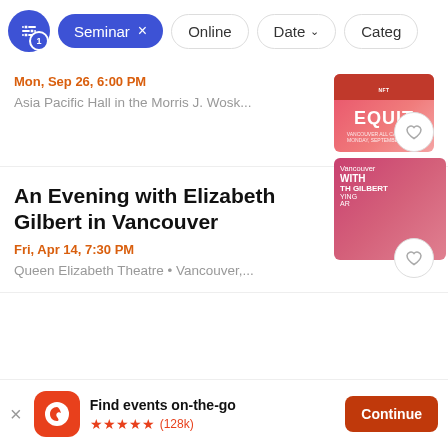Seminar × | Online | Date ↓ | Categ
Mon, Sep 26, 6:00 PM
Asia Pacific Hall in the Morris J. Wosk...
[Figure (photo): EQUIT Vancouver All Candidates Monday September 26 event poster with pink/red background]
An Evening with Elizabeth Gilbert in Vancouver
Fri, Apr 14, 7:30 PM
Queen Elizabeth Theatre • Vancouver,...
[Figure (photo): Vancouver With Elizabeth Gilbert event poster showing a woman's face on pink/magenta background]
Find events on-the-go ★★★★★ (128k)
Continue